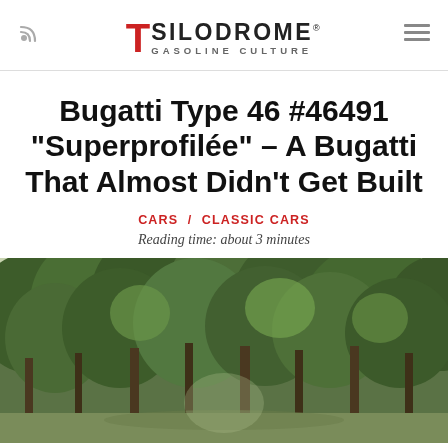SILODROME GASOLINE CULTURE
Bugatti Type 46 #46491 “Superfilée” – A Bugatti That Almost Didn't Get Built
CARS / CLASSIC CARS
Reading time: about 3 minutes
[Figure (photo): Outdoor scene with dense green forest trees, appears to be a wooded road or path with lush foliage overhead]